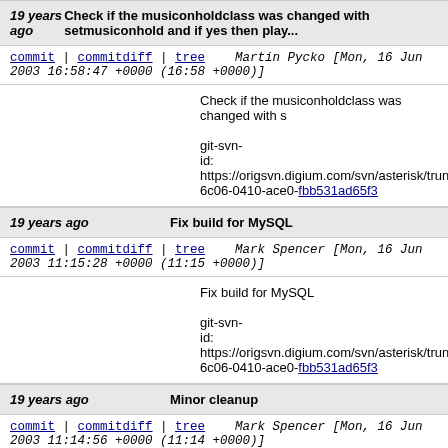19 years ago   Check if the musiconholdclass was changed with setmusiconhold and if yes then play...
commit | commitdiff | tree   Martin Pycko [Mon, 16 Jun 2003 16:58:47 +0000 (16:58 +0000)]
Check if the musiconholdclass was changed with s
git-svn-id: https://origsvn.digium.com/svn/asterisk/trunk@6c06-0410-ace0-fbb531ad65f3
19 years ago   Fix build for MySQL
commit | commitdiff | tree   Mark Spencer [Mon, 16 Jun 2003 11:15:28 +0000 (11:15 +0000)]
Fix build for MySQL
git-svn-id: https://origsvn.digium.com/svn/asterisk/trunk@6c06-0410-ace0-fbb531ad65f3
19 years ago   Minor cleanup
commit | commitdiff | tree   Mark Spencer [Mon, 16 Jun 2003 11:14:56 +0000 (11:14 +0000)]